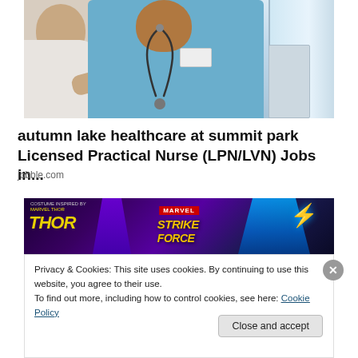[Figure (photo): Photo of a nurse in blue scrubs with a stethoscope attending to an elderly patient]
autumn lake healthcare at summit park Licensed Practical Nurse (LPN/LVN) Jobs in...
jobble.com
[Figure (photo): Marvel Strike Force advertisement banner with Thor theme]
Privacy & Cookies: This site uses cookies. By continuing to use this website, you agree to their use.
To find out more, including how to control cookies, see here: Cookie Policy
Close and accept